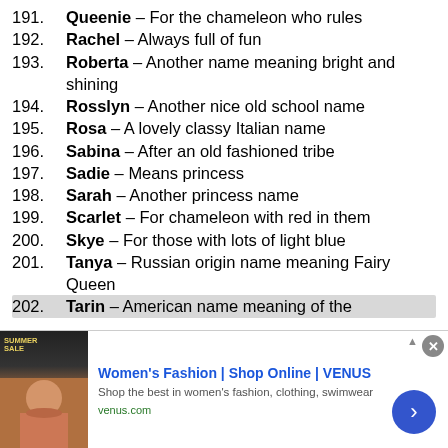191. Queenie – For the chameleon who rules
192. Rachel – Always full of fun
193. Roberta – Another name meaning bright and shining
194. Rosslyn – Another nice old school name
195. Rosa – A lovely classy Italian name
196. Sabina – After an old fashioned tribe
197. Sadie – Means princess
198. Sarah – Another princess name
199. Scarlet – For chameleon with red in them
200. Skye – For those with lots of light blue
201. Tanya – Russian origin name meaning Fairy Queen
202. Tarin – American name meaning of the
[Figure (infographic): Advertisement banner for Women's Fashion Shop Online VENUS with promotional image, text, and arrow button]